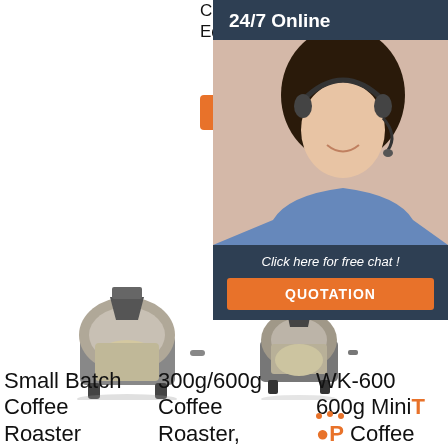Coffee Roaster Equipment
[Figure (other): Orange 'Get Price' button]
Machine; WS-6 6kg Specialty Coffee Roaster; WS-6 6kg Double walled Drum Roaster
[Figure (other): 24/7 Online chat panel with customer service representative image, 'Click here for free chat!' text, and QUOTATION button]
[Figure (photo): Small batch coffee roaster machine photo (left)]
[Figure (photo): 300g/600g coffee roaster machine photo (right)]
Small Batch Coffee Roaster
300g/600g Coffee Roaster, 300g/600g
WK-600 600g Mini Coffee Roaster -